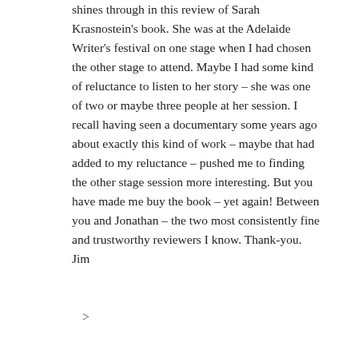shines through in this review of Sarah Krasnostein's book. She was at the Adelaide Writer's festival on one stage when I had chosen the other stage to attend. Maybe I had some kind of reluctance to listen to her story – she was one of two or maybe three people at her session. I recall having seen a documentary some years ago about exactly this kind of work – maybe that had added to my reluctance – pushed me to finding the other stage session more interesting. But you have made me buy the book – yet again! Between you and Jonathan – the two most consistently fine and trustworthy reviewers I know. Thank-you. Jim
>